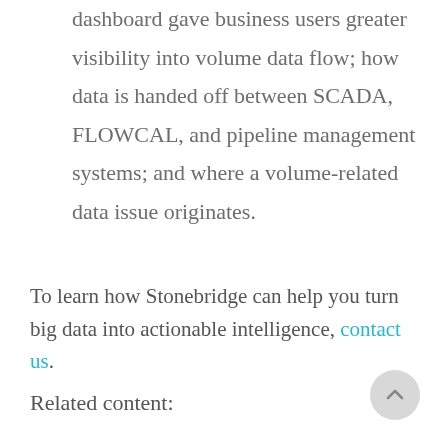dashboard gave business users greater visibility into volume data flow; how data is handed off between SCADA, FLOWCAL, and pipeline management systems; and where a volume-related data issue originates.
To learn how Stonebridge can help you turn big data into actionable intelligence, contact us.
Related content: